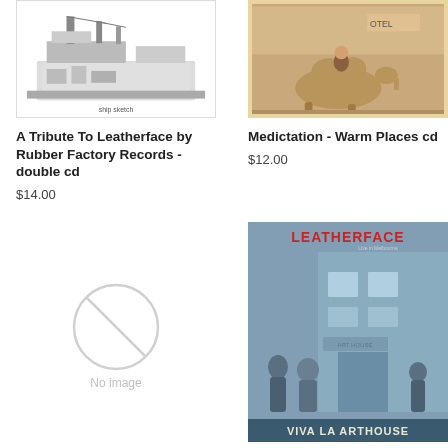[Figure (photo): Black and white illustration of a ship/industrial scene - A Tribute To Leatherface album cover]
A Tribute To Leatherface by Rubber Factory Records - double cd
$14.00
[Figure (photo): Sepia/vintage photo of a person riding a camel in front of a hotel - Medictation Warm Places album cover]
Medictation - Warm Places cd
$12.00
[Figure (photo): No image placeholder with circle icon]
Flashlight Brown Mad
[Figure (photo): Leatherface Live in Melbourne album cover - blue/grey toned image with figures outside Arthouse venue, text LEATHERFACE at top in red and VIVA LA ARTHOUSE at bottom]
Leatherface - Live in